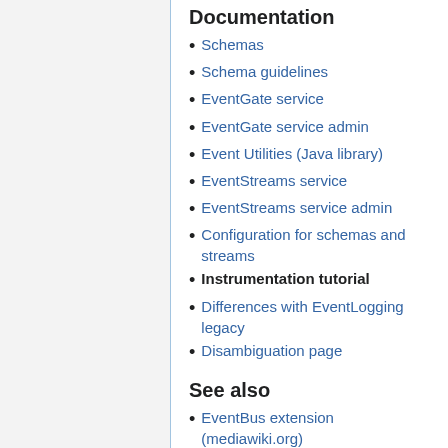Documentation
Schemas
Schema guidelines
EventGate service
EventGate service admin
Event Utilities (Java library)
EventStreams service
EventStreams service admin
Configuration for schemas and streams
Instrumentation tutorial
Differences with EventLogging legacy
Disambiguation page
See also
EventBus extension (mediawiki.org)
EventLogging extension (mediawiki.org)